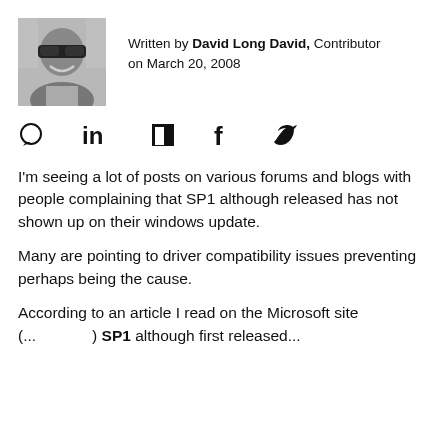[Figure (photo): Black and white headshot photo of David Long David wearing sunglasses, smiling]
Written by David Long David, Contributor
on March 20, 2008
[Figure (infographic): Social sharing icons: comment bubble, LinkedIn, Flipboard, Facebook, Twitter]
I'm seeing a lot of posts on various forums and blogs with people complaining that SP1 although released has not shown up on their windows update.
Many are pointing to driver compatibility issues preventing perhaps being the cause.
According to an article I read on the Microsoft site (... ) SP1 although first released...